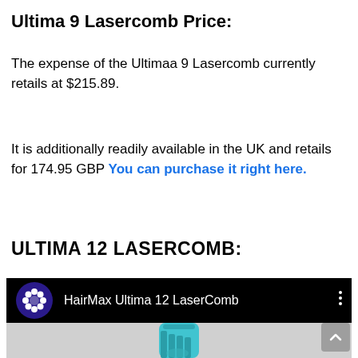Ultima 9 Lasercomb Price:
The expense of the Ultimaa 9 Lasercomb currently retails at $215.89.
It is additionally readily available in the UK and retails for 174.95 GBP You can purchase it right here.
ULTIMA 12 LASERCOMB:
[Figure (screenshot): YouTube-style video embed showing HairMax Ultima 12 LaserComb with dark header bar, channel icon, video title, and product image below]